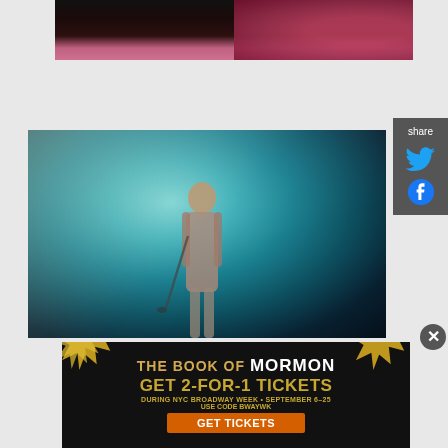[Figure (photo): Cropped top image showing dark background with hands and a red/pink sequined outfit]
[Figure (photo): Performer on stage singing into microphone under teal/blue stage lighting with light rays]
[Figure (screenshot): Share sidebar with Twitter and Facebook social media icons on dark gray background]
[Figure (infographic): Advertisement banner for The Book of Mormon musical. Text: THE BOOK OF MORMON. GET 2-FOR-1 TICKETS. DURING NYC BROADWAY WEEK • SEPTEMBER 6-25. USE CODE BWAYWK. GET TICKETS button.]